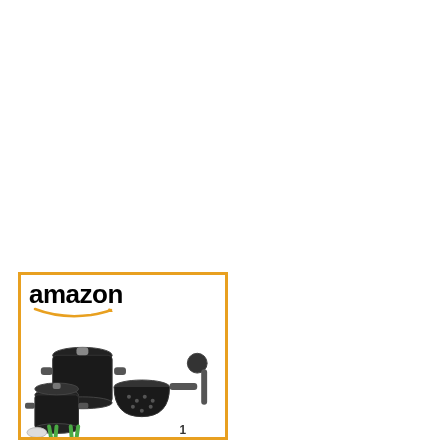[Figure (illustration): Amazon product card with orange border. Shows the Amazon logo (black bold text 'amazon' with orange arrow/smile underneath) at the top. Below the logo is a product image showing black speckled enamelware pots and pans set with lids, a strainer/colander, green tongs, and other kitchen utensils arranged as a canning/cooking set.]